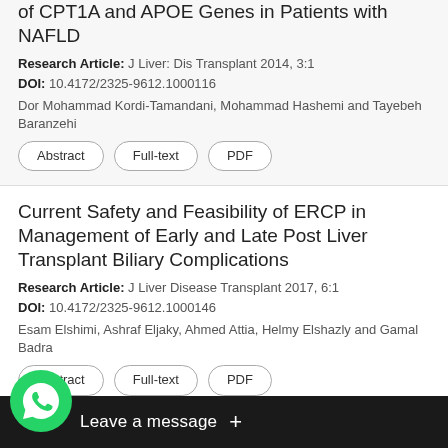of CPTA and APOE Genes in Patients with NAFLD
Research Article: J Liver: Dis Transplant 2014, 3:1
DOI: 10.4172/2325-9612.1000116
Dor Mohammad Kordi-Tamandani, Mohammad Hashemi and Tayebeh Baranzehi
Abstract | Full-text | PDF
Current Safety and Feasibility of ERCP in Management of Early and Late Post Liver Transplant Biliary Complications
Research Article: J Liver Disease Transplant 2017, 6:1
DOI: 10.4172/2325-9612.1000146
Esam Elshimi, Ashraf Eljaky, Ahmed Attia, Helmy Elshazly and Gamal Badra
Abstract | Full-text | PDF
tors of Postoperative Morbidity after Minor and ... in a Single German Cen